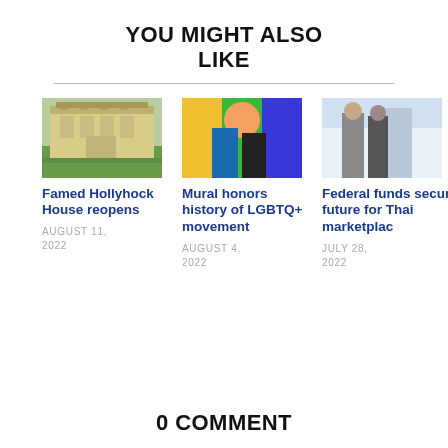YOU MIGHT ALSO LIKE
[Figure (photo): Exterior photo of Hollyhock House, a Frank Lloyd Wright building with tan/stone facade and green lawn]
Famed Hollyhock House reopens
AUGUST 11, 2022
[Figure (photo): Two people standing in front of a colorful LGBTQ+ mural with rainbow colors and a smiling face]
Mural honors history of LGBTQ+ movement
AUGUST 4, 2022
[Figure (photo): Two people conversing indoors in a bright space]
Federal funds secure future for Thai marketplace
JULY 28, 2022
0 COMMENT